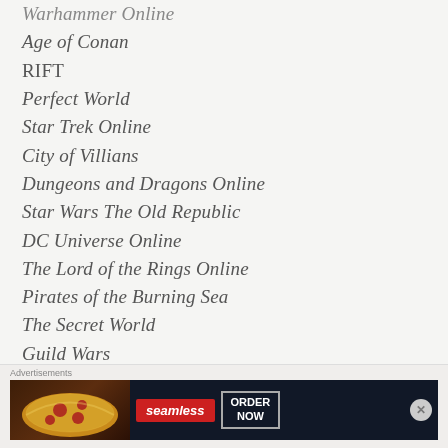Warhammer Online
Age of Conan
RIFT
Perfect World
Star Trek Online
City of Villians
Dungeons and Dragons Online
Star Wars The Old Republic
DC Universe Online
The Lord of the Rings Online
Pirates of the Burning Sea
The Secret World
Guild Wars
TERA
[Figure (other): Seamless food delivery advertisement banner showing pizza image with Seamless logo and ORDER NOW button]